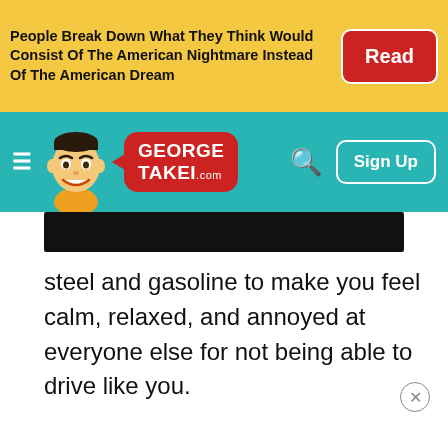People Break Down What They Think Would Consist Of The American Nightmare Instead Of The American Dream
[Figure (screenshot): George Takei .com website navigation bar with cartoon mascot logo, hamburger menu, search icon, and Sign Up button on teal background]
[Figure (other): Black horizontal bar (partially obscured image)]
steel and gasoline to make you feel calm, relaxed, and annoyed at everyone else for not being able to drive like you.